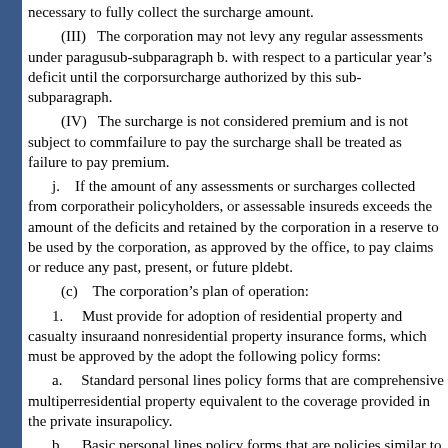necessary to fully collect the surcharge amount.
(III) The corporation may not levy any regular assessments under paragraph sub-subparagraph b. with respect to a particular year's deficit until the corporation surcharge authorized by this sub-subparagraph.
(IV) The surcharge is not considered premium and is not subject to comm failure to pay the surcharge shall be treated as failure to pay premium.
j. If the amount of any assessments or surcharges collected from corpora their policyholders, or assessable insureds exceeds the amount of the deficits and retained by the corporation in a reserve to be used by the corporation, as approved by the office, to pay claims or reduce any past, present, or future pl debt.
(c) The corporation's plan of operation:
1. Must provide for adoption of residential property and casualty insura and nonresidential property insurance forms, which must be approved by the adopt the following policy forms:
a. Standard personal lines policy forms that are comprehensive multiper residential property equivalent to the coverage provided in the private insura policy.
b. Basic personal lines policy forms that are policies similar to an HO-8 provide coverage meeting the requirements of the secondary mortgage marke coverage under a standard policy.
c. Commercial lines residential and nonresidential policy forms that are coverage obtainable for commercial residential structures and commercial no